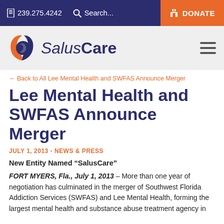239.275.4242   Search...   DONATE
[Figure (logo): SalusCare logo with orange flame/swoosh icon and navy blue text reading SalusCare]
← Back to All Lee Mental Health and SWFAS Announce Merger
Lee Mental Health and SWFAS Announce Merger
JULY 1, 2013 - NEWS & PRESS
New Entity Named “SalusCare”
FORT MYERS, Fla., July 1, 2013 – More than one year of negotiation has culminated in the merger of Southwest Florida Addiction Services (SWFAS) and Lee Mental Health, forming the largest mental health and substance abuse treatment agency in